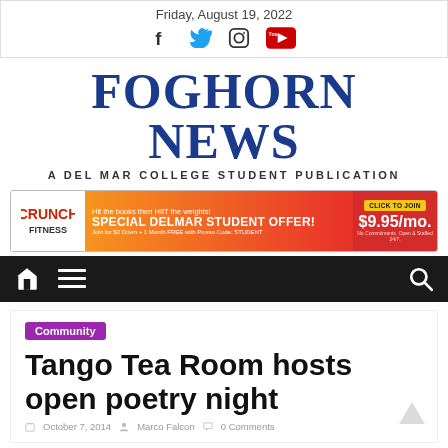Friday, August 19, 2022
FOGHORN NEWS
A DEL MAR COLLEGE STUDENT PUBLICATION
[Figure (infographic): Crunch Fitness advertisement banner: Hit the books then HIIT the weights! SPECIAL DELMAR STUDENT OFFER! Join for $0 Down + 1 Month FREE with Promo Code: STUDENT. CLICK TO JOIN $9.95/mo. No Commitments. Open & Staffed 24/7.]
[Figure (infographic): Navigation bar with home icon, hamburger menu icon, and search icon on dark background]
Community
Tango Tea Room hosts open poetry night
October 7, 2014 • Marco Falcon • 0 Comments